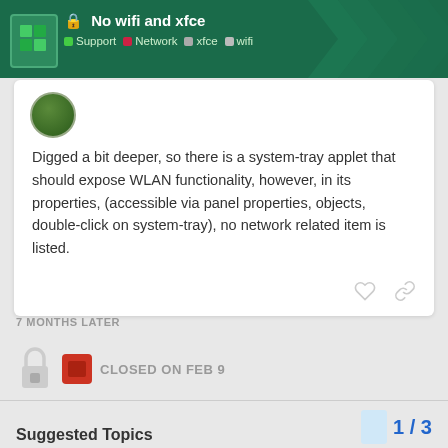No wifi and xfce | Support | Network | xfce | wifi
Digged a bit deeper, so there is a system-tray applet that should expose WLAN functionality, however, in its properties, (accessible via panel properties, objects, double-click on system-tray), no network related item is listed.
7 MONTHS LATER
CLOSED ON FEB 9
Suggested Topics
1 / 3